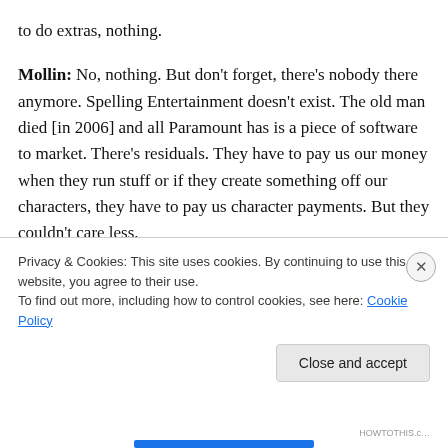to do extras, nothing.
Mollin: No, nothing. But don't forget, there's nobody there anymore. Spelling Entertainment doesn't exist. The old man died [in 2006] and all Paramount has is a piece of software to market. There's residuals. They have to pay us our money when they run stuff or if they create something off our characters, they have to pay us character payments. But they couldn't care less.
The music stuff we had a lot of fun with, too, with the Beach Pit After Dark. I come from a rock and roll
Privacy & Cookies: This site uses cookies. By continuing to use this website, you agree to their use.
To find out more, including how to control cookies, see here: Cookie Policy
Close and accept